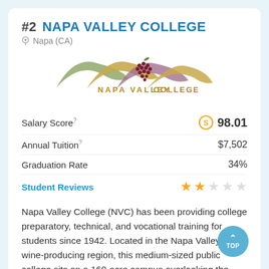#2 NAPA VALLEY COLLEGE
Napa (CA)
[Figure (logo): Napa Valley College logo with mountain/vineyard landscape and grape cluster graphic in gold and earthy tones]
| Metric | Value |
| --- | --- |
| Salary Score | 98.01 |
| Annual Tuition | $7,502 |
| Graduation Rate | 34% |
| Student Reviews | 2 out of 5 stars |
Napa Valley College (NVC) has been providing college preparatory, technical, and vocational training for students since 1942. Located in the Napa Valley's wine-producing region, this medium-sized public college sits on a 160-acre campus overlooking the